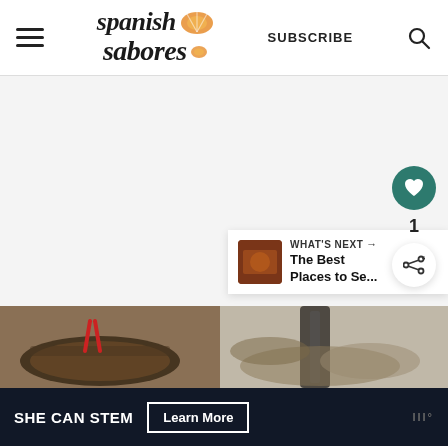Spanish Sabores — SUBSCRIBE
[Figure (screenshot): Large light gray empty content area with floating action buttons (heart/like in teal circle, count of 1, share icon in white circle) on the right side]
WHAT'S NEXT → The Best Places to Se...
[Figure (photo): Two side-by-side food photos showing paella being cooked in a pan, with hands stirring]
SHE CAN STEM   Learn More